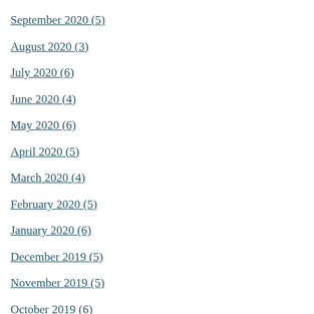September 2020 (5)
August 2020 (3)
July 2020 (6)
June 2020 (4)
May 2020 (6)
April 2020 (5)
March 2020 (4)
February 2020 (5)
January 2020 (6)
December 2019 (5)
November 2019 (5)
October 2019 (6)
September 2019 (6)
August 2019 (5)